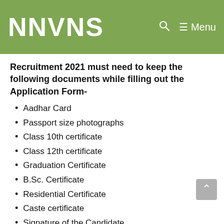NNVNS
Recruitment 2021 must need to keep the following documents while filling out the Application Form-
Aadhar Card
Passport size photographs
Class 10th certificate
Class 12th certificate
Graduation Certificate
B.Sc. Certificate
Residential Certificate
Caste certificate
Signature of the Candidate
How to apply for the